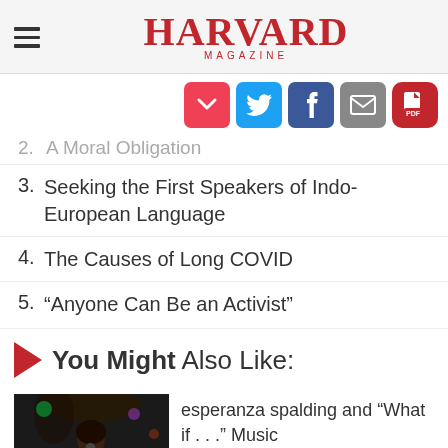HARVARD MAGAZINE
[Figure (other): Social share icons: Pocket, Twitter, Facebook, Email, PDF]
2. A Moral Obligation
3. Seeking the First Speakers of Indo-European Language
4. The Causes of Long COVID
5. “Anyone Can Be an Activist”
You Might Also Like:
esperanza spalding and “What if . . .” Music